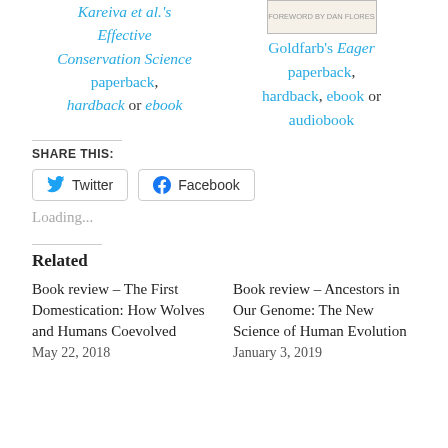Kareiva et al.'s Effective Conservation Science paperback, hardback or ebook
[Figure (illustration): Book cover image for Goldfarb's Eager]
Goldfarb's Eager paperback, hardback, ebook or audiobook
SHARE THIS:
Twitter   Facebook
Loading...
Related
Book review – The First Domestication: How Wolves and Humans Coevolved
May 22, 2018
Book review – Ancestors in Our Genome: The New Science of Human Evolution
January 3, 2019